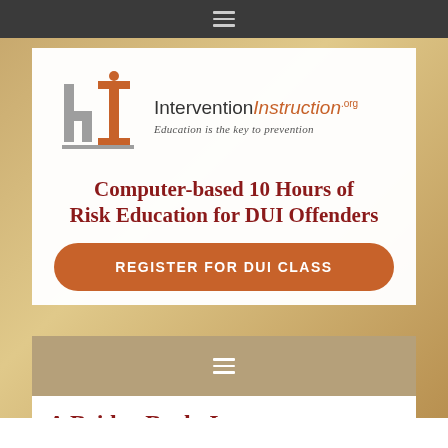≡ (navigation menu icon)
[Figure (logo): InterventionInstruction.org logo with stylized 'hi' letterform in orange and gray, tagline: Education is the key to prevention]
Computer-based 10 Hours of Risk Education for DUI Offenders
REGISTER FOR DUI CLASS
≡ (navigation menu icon)
A Bridge Back, Inc.